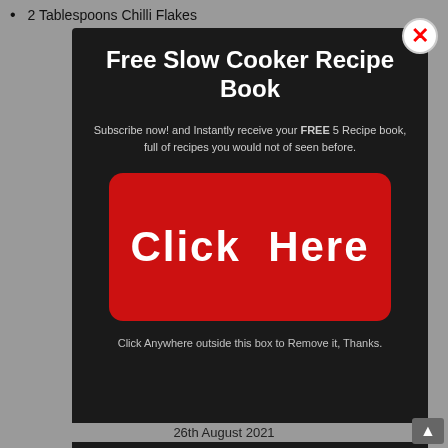2 Tablespoons Chilli Flakes
[Figure (screenshot): Modal popup with dark background showing 'Free Slow Cooker Recipe Book' offer. Contains title text, subscription message with FREE in bold, a red 'Click Here' button, a dismiss instruction, and a light-colored section with Facebook and Twitter social icons and a privacy disclaimer.]
26th August 2021